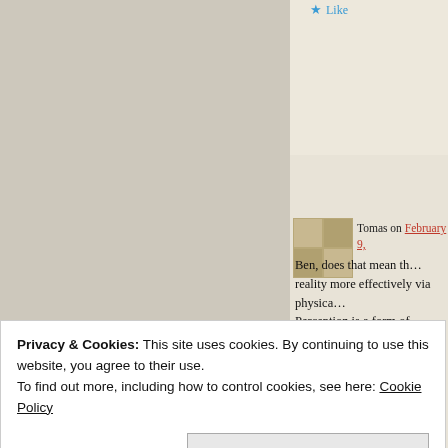★ Like
Tomas on February 9, [date]
Ben, does that mean th… reality more effectively via physica… Perception is a form of interaction…
★ Liked by 1 person
Z on January 21, 2022 at 12:55 pm
Privacy & Cookies: This site uses cookies. By continuing to use this website, you agree to their use.
To find out more, including how to control cookies, see here: Cookie Policy
Close and accept